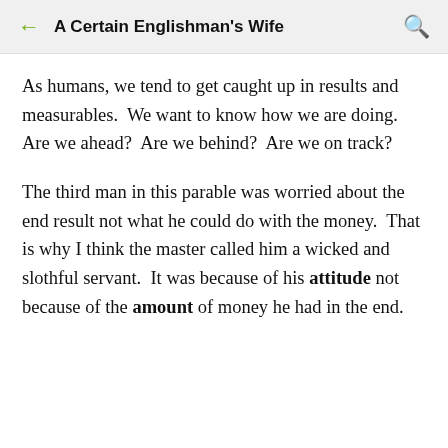A Certain Englishman's Wife
As humans, we tend to get caught up in results and measurables.  We want to know how we are doing.  Are we ahead?  Are we behind?  Are we on track?
The third man in this parable was worried about the end result not what he could do with the money.  That is why I think the master called him a wicked and slothful servant.  It was because of his attitude not because of the amount of money he had in the end.